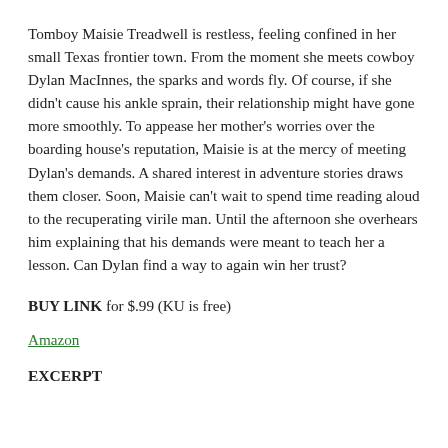Tomboy Maisie Treadwell is restless, feeling confined in her small Texas frontier town. From the moment she meets cowboy Dylan MacInnes, the sparks and words fly. Of course, if she didn't cause his ankle sprain, their relationship might have gone more smoothly. To appease her mother's worries over the boarding house's reputation, Maisie is at the mercy of meeting Dylan's demands. A shared interest in adventure stories draws them closer. Soon, Maisie can't wait to spend time reading aloud to the recuperating virile man. Until the afternoon she overhears him explaining that his demands were meant to teach her a lesson. Can Dylan find a way to again win her trust?
BUY LINK for $.99 (KU is free)
Amazon
EXCERPT